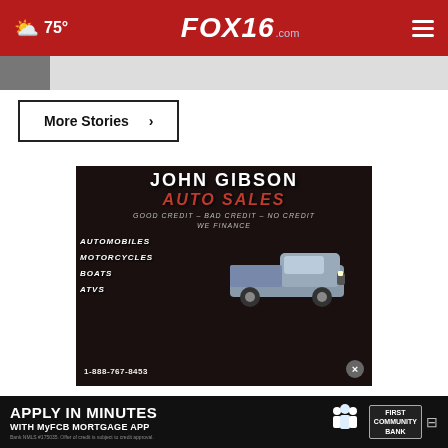75° FOX16.com
[Figure (screenshot): Partial thumbnail image strip visible below the red navigation header]
More Stories ›
[Figure (advertisement): John Gibson Auto Sales advertisement. Good Credit – Bad Credit – No Credit We Finance. Automobiles, Motorcycles, Boats, ATVs. 1-888-767-8453. Truck image shown.]
[Figure (advertisement): Apply In Minutes with MyFCB Mortgage App – First Community Bank banner ad]